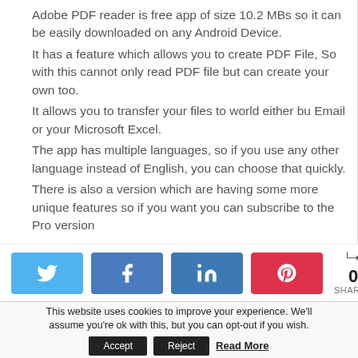Adobe PDF reader is free app of size 10.2 MBs so it can be easily downloaded on any Android Device.
It has a feature which allows you to create PDF File, So with this cannot only read PDF file but can create your own too.
It allows you to transfer your files to world either bu Email or your Microsoft Excel.
The app has multiple languages, so if you use any other language instead of English, you can choose that quickly.
There is also a version which are having some more unique features so if you want you can subscribe to the Pro version
[Figure (infographic): Social share buttons: Twitter (blue), Facebook (blue), LinkedIn (dark blue), Pinterest (red), and a share count showing 0 SHARES]
This website uses cookies to improve your experience. We'll assume you're ok with this, but you can opt-out if you wish. Accept Reject Read More